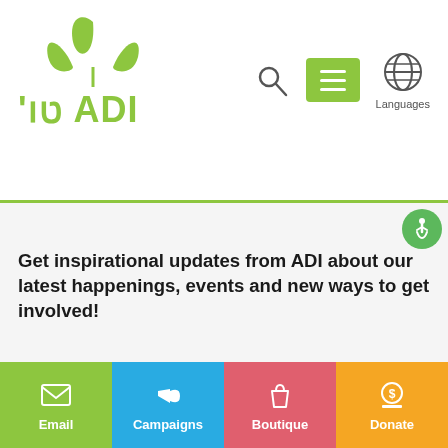[Figure (logo): ADI organization logo with green leaves above text reading ADI in green bold letters with Hebrew text]
[Figure (screenshot): Website navigation icons: search magnifying glass, green hamburger menu button, globe/language icon with Languages label]
[Figure (illustration): Green accessibility wheelchair icon button]
Get inspirational updates from ADI about our latest happenings, events and new ways to get involved!
[Figure (screenshot): Name input field (empty) with placeholder text 'Name']
[Figure (screenshot): Bottom navigation bar with four buttons: Email (green), Campaigns (blue), Boutique (red/pink), Donate (yellow/orange)]